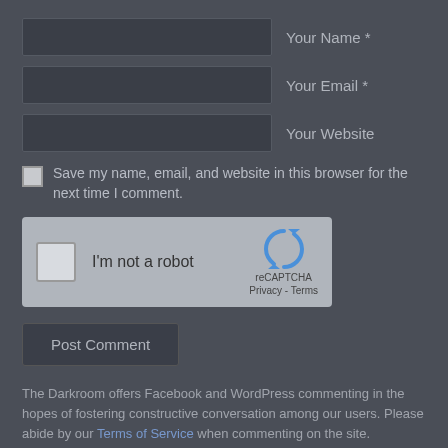Your Name *
Your Email *
Your Website
Save my name, email, and website in this browser for the next time I comment.
[Figure (other): reCAPTCHA widget with checkbox labeled 'I'm not a robot' and reCAPTCHA logo with Privacy - Terms links]
Post Comment
The Darkroom offers Facebook and WordPress commenting in the hopes of fostering constructive conversation among our users. Please abide by our Terms of Service when commenting on the site.